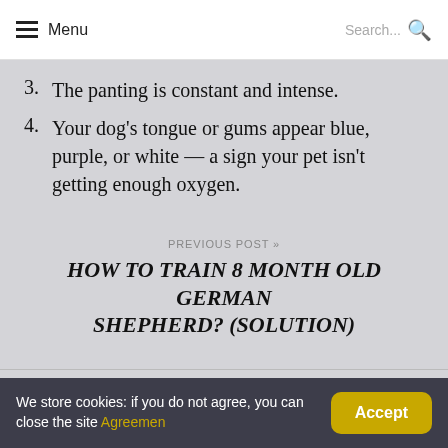Menu  Search...
3.  The panting is constant and intense.
4.  Your dog's tongue or gums appear blue, purple, or white — a sign your pet isn't getting enough oxygen.
PREVIOUS POST »
HOW TO TRAIN 8 MONTH OLD GERMAN SHEPHERD? (SOLUTION)
« NEXT POST
WHEN DO GERMAN SHEPHERD LAB MIX STOP GROWING? (PERFECT ANSWER)
We store cookies: if you do not agree, you can close the site Agreement